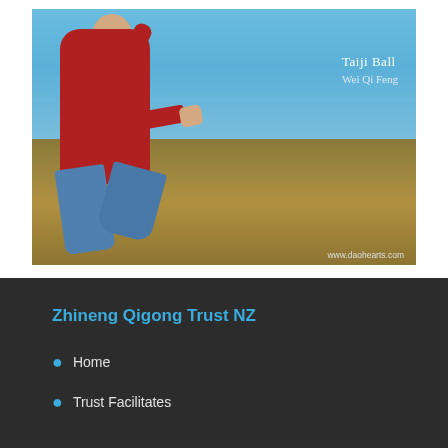[Figure (photo): A man in a red long-sleeve top and blue pants performing a Taiji Ball martial arts stance outdoors in a field with dry golden grass under a blue sky. The text 'Taiji Ball' and 'Wei Qi Feng' is overlaid on the photo along with the watermark 'www.daohearts.com'.]
Zhineng Qigong Trust NZ
Home
Trust Facilitates